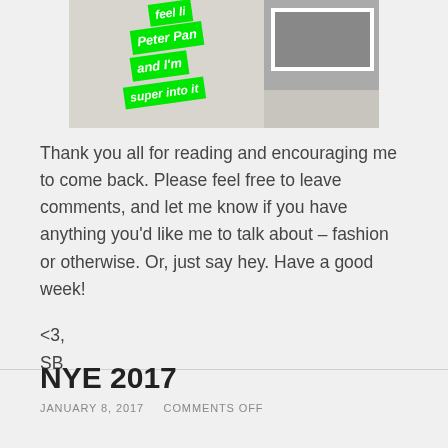[Figure (photo): Photo of a door with green sticker labels showing italic white text: 'feel like', 'Peter Pan', 'and I’m', 'super into it']
Thank you all for reading and encouraging me to come back. Please feel free to leave comments, and let me know if you have anything you’d like me to talk about – fashion or otherwise. Or, just say hey. Have a good week!
<3,
SB
NYE 2017
JANUARY 8, 2017   COMMENTS OFF